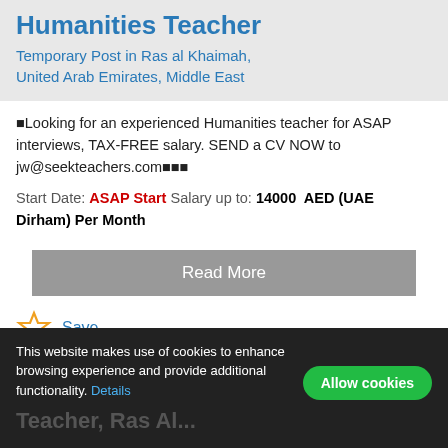Humanities Teacher
Temporary Post in Ras al Khaimah, United Arab Emirates, Middle East
■Looking for an experienced Humanities teacher for ASAP interviews, TAX-FREE salary. SEND a CV NOW to jw@seekteachers.com■■■
Start Date: ASAP Start Salary up to: 14000 AED (UAE Dirham) Per Month
Read More
Save
This website makes use of cookies to enhance browsing experience and provide additional functionality. Details
Allow cookies
Teacher, Ras Al...